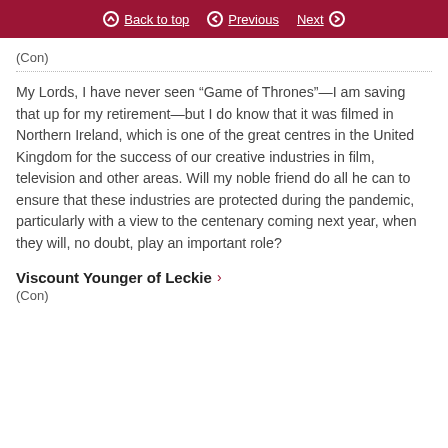Back to top | Previous | Next
(Con)
My Lords, I have never seen “Game of Thrones”—I am saving that up for my retirement—but I do know that it was filmed in Northern Ireland, which is one of the great centres in the United Kingdom for the success of our creative industries in film, television and other areas. Will my noble friend do all he can to ensure that these industries are protected during the pandemic, particularly with a view to the centenary coming next year, when they will, no doubt, play an important role?
Viscount Younger of Leckie
(Con)